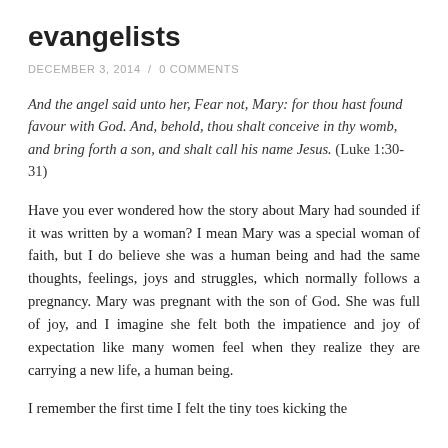evangelists
DECEMBER 3, 2014 / 0 COMMENTS
And the angel said unto her, Fear not, Mary: for thou hast found favour with God. And, behold, thou shalt conceive in thy womb, and bring forth a son, and shalt call his name Jesus. (Luke 1:30-31)
Have you ever wondered how the story about Mary had sounded if it was written by a woman? I mean Mary was a special woman of faith, but I do believe she was a human being and had the same thoughts, feelings, joys and struggles, which normally follows a pregnancy. Mary was pregnant with the son of God. She was full of joy, and I imagine she felt both the impatience and joy of expectation like many women feel when they realize they are carrying a new life, a human being.
I remember the first time I felt the tiny toes kicking the